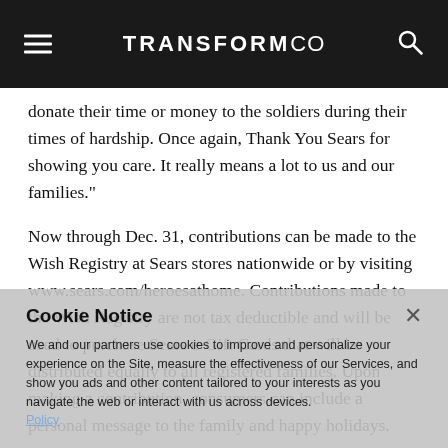TRANSFORMCO
donate their time or money to the soldiers during their times of hardship. Once again, Thank You Sears for showing you care. It really means a lot to us and our families."

Now through Dec. 31, contributions can be made to the Wish Registry at Sears stores nationwide or by visiting www.sears.com/heroesathome. Contributions made to the Wish Registry are not tax deductible and will be used to purchase Sears e-Gift Cards that will be distributed equally to all registered families. Upon making a contribution, consumers can include a personal message to the family and happy holidays.

"To other companies, I encourage you as you navigate the web or interact with us across devices to the Heroes at Home Wish Registry," said Hamblen. "Every donation counts and goes to helping others have a happier
Cookie Notice

We and our partners use cookies to improve and personalize your experience on the Site, measure the effectiveness of our Services, and show you ads and other content tailored to your interests as you navigate the web or interact with us across devices.

Policy